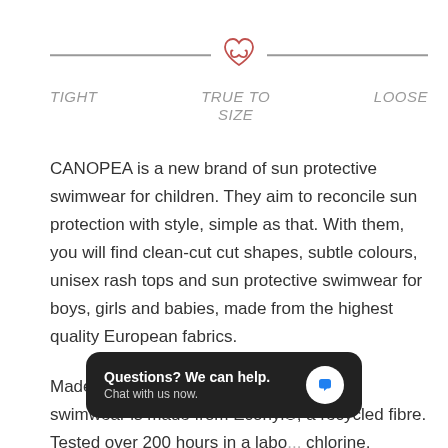[Figure (infographic): Fit scale indicator: a horizontal line with a heart/infinity knot icon centered on it, labeled TIGHT on the left, TRUE TO SIZE in the center, and LOOSE on the right.]
CANOPEA is a new brand of sun protective swimwear for children. They aim to reconcile sun protection with style, simple as that. With them, you will find clean-cut cut shapes, subtle colours, unisex rash tops and sun protective swimwear for boys, girls and babies, made from the highest quality European fabrics.
Made in Europe in small workshops, the swimwear is made from Econyl®, a recycled fibre. Tested over 200 hours in a labo... chlorine, seawater and s... from high-quality European fabrics, they are rated UPF 50+
[Figure (screenshot): Chat widget overlay: black rounded rectangle with text 'Questions? We can help.' and 'Chat with us now.' alongside a white circle with blue speech bubble icon.]